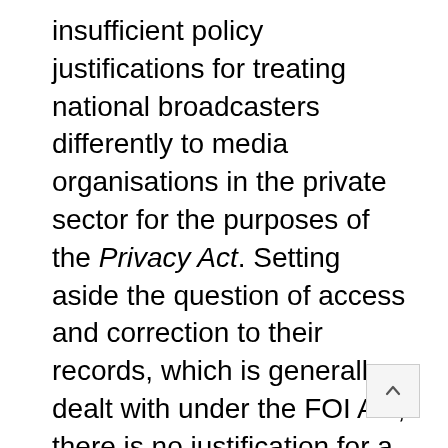insufficient policy justifications for treating national broadcasters differently to media organisations in the private sector for the purposes of the Privacy Act. Setting aside the question of access and correction to their records, which is generally dealt with under the FOI Act, there is no justification for a specific exemption for the ABC and the SBS in relation to their program materials and datacasting content.

36.79 Both the ABC and the SBS submitted that they should be exempted in relation to their...